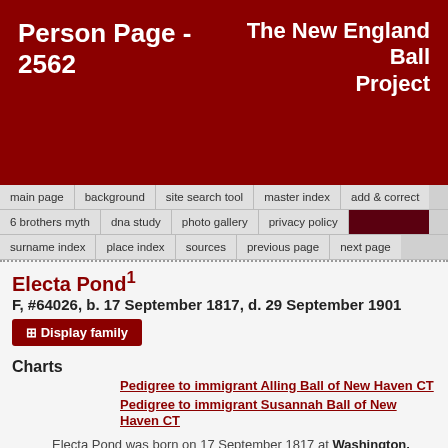Person Page - 2562 | The New England Ball Project
main page | background | site search tool | master index | add & correct | 6 brothers myth | dna study | photo gallery | privacy policy | surname index | place index | sources | previous page | next page
Electa Pond1
F, #64026, b. 17 September 1817, d. 29 September 1901
Display family
Charts
Pedigree to immigrant Alling Ball of New Haven CT
Pedigree to immigrant Susannah Ball of New Haven CT
Electa Pond was born on 17 September 1817 at Washington, Guernsey Co., OH.2 She was the daughter of Thaddeus Pond and Louisa Miner.1 Electa Pond married Thomas Hunt.1 Electa Pond died on 29...